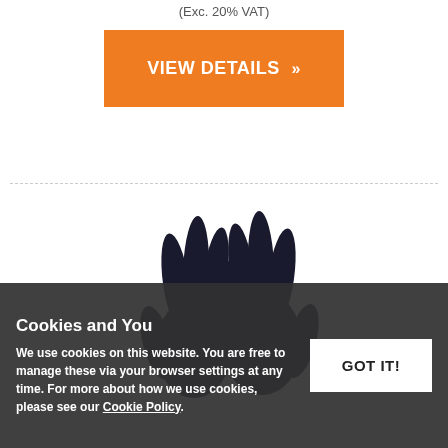(Exc. 20% VAT)
VIEW DETAILS »
[Figure (photo): Two dark navy/black leather gloves displayed against a white background, viewed from the front with fingers spread upward.]
Cookies and You
We use cookies on this website. You are free to manage these via your browser settings at any time. For more about how we use cookies, please see our Cookie Policy.
GOT IT!